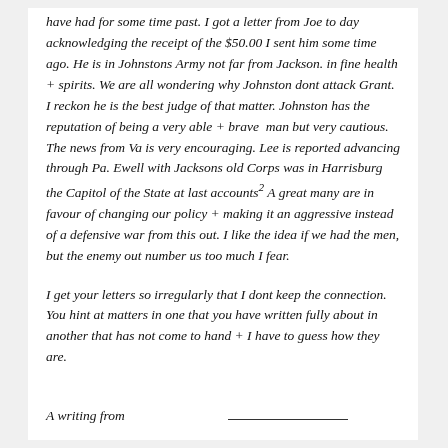have had for some time past. I got a letter from Joe to day acknowledging the receipt of the $50.00 I sent him some time ago. He is in Johnstons Army not far from Jackson. in fine health + spirits. We are all wondering why Johnston dont attack Grant. I reckon he is the best judge of that matter. Johnston has the reputation of being a very able + brave man but very cautious. The news from Va is very encouraging. Lee is reported advancing through Pa. Ewell with Jacksons old Corps was in Harrisburg the Capitol of the State at last accounts² A great many are in favour of changing our policy + making it an aggressive instead of a defensive war from this out. I like the idea if we had the men, but the enemy out number us too much I fear.
I get your letters so irregularly that I dont keep the connection. You hint at matters in one that you have written fully about in another that has not come to hand + I have to guess how they are.
A writing from